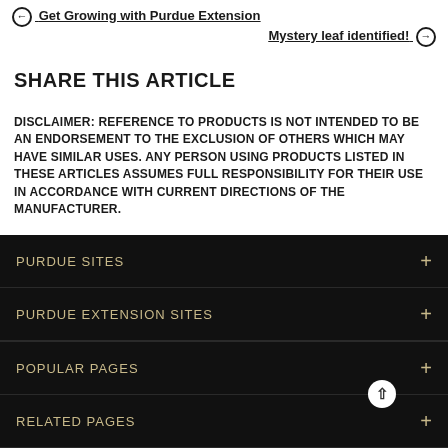← Get Growing with Purdue Extension | Mystery leaf identified! →
SHARE THIS ARTICLE
DISCLAIMER: REFERENCE TO PRODUCTS IS NOT INTENDED TO BE AN ENDORSEMENT TO THE EXCLUSION OF OTHERS WHICH MAY HAVE SIMILAR USES. ANY PERSON USING PRODUCTS LISTED IN THESE ARTICLES ASSUMES FULL RESPONSIBILITY FOR THEIR USE IN ACCORDANCE WITH CURRENT DIRECTIONS OF THE MANUFACTURER.
PURDUE SITES
PURDUE EXTENSION SITES
POPULAR PAGES
RELATED PAGES